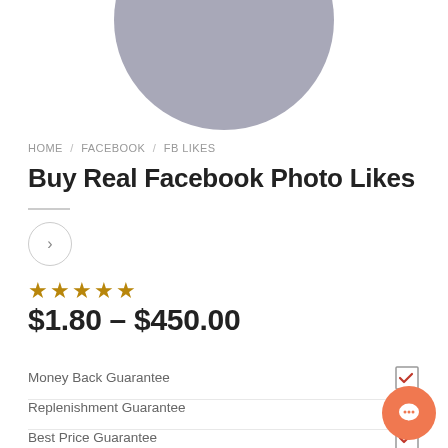[Figure (illustration): Partial grey circular profile avatar cropped at top of page]
HOME / FACEBOOK / FB LIKES
Buy Real Facebook Photo Likes
$1.80 – $450.00
Money Back Guarantee
Replenishment Guarantee
Best Price Guarantee
Real Facebook Likes